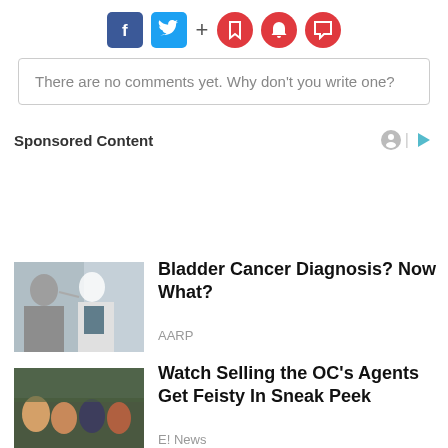[Figure (infographic): Social sharing icons: Facebook (blue), Twitter (blue), plus sign, and three red circular icons (bookmark, bell, comment)]
There are no comments yet. Why don't you write one?
Sponsored Content
[Figure (photo): Doctor in white coat speaking with a patient in a meeting room]
Bladder Cancer Diagnosis? Now What?
AARP
[Figure (photo): Group of women sitting together, TV show cast]
Watch Selling the OC's Agents Get Feisty In Sneak Peek
E! News